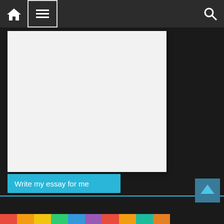Navigation bar with home icon, menu (hamburger) icon, and search icon
[Figure (other): White/light gray blank content area rectangle on dark background]
Write my essay for me
[Figure (other): Colorful image strip at the bottom of the page]